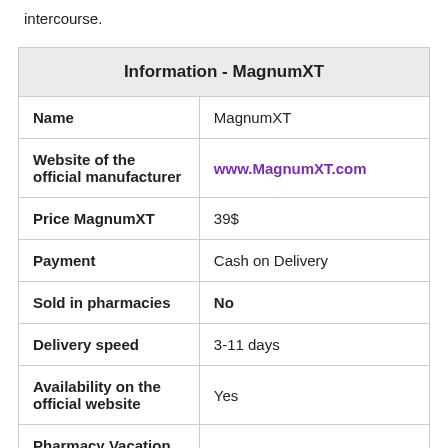intercourse.
| Information - MagnumXT |
| --- |
| Name | MagnumXT |
| Website of the official manufacturer | www.MagnumXT.com |
| Price MagnumXT | 39$ |
| Payment | Cash on Delivery |
| Sold in pharmacies | No |
| Delivery speed | 3-11 days |
| Availability on the official website | Yes |
| Pharmacy Vacation |  |